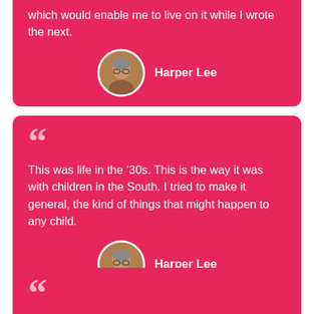which would enable me to live on it while I wrote the next.
Harper Lee
This was life in the ’30s. This is the way it was with children in the South. I tried to make it general, the kind of things that might happen to any child.
Harper Lee
Until I feared I would lose it, I never loved to read. One does not love